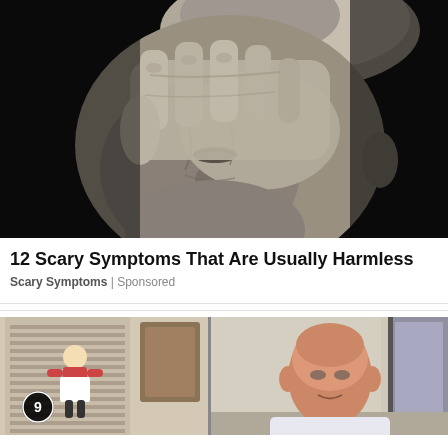[Figure (photo): Black and white close-up photograph of an elderly woman holding her hand over her forehead/eye area, eyes closed, appearing distressed or in pain, against a dark background.]
12 Scary Symptoms That Are Usually Harmless
Scary Symptoms | Sponsored
[Figure (photo): Color photograph showing a split scene: left side shows an animated cartoon character (small figure in apron) and a decorative picture on a wall; right side shows a bald man standing in what appears to be a hallway or home interior. A circular icon with the number 9 is visible on the left portion.]